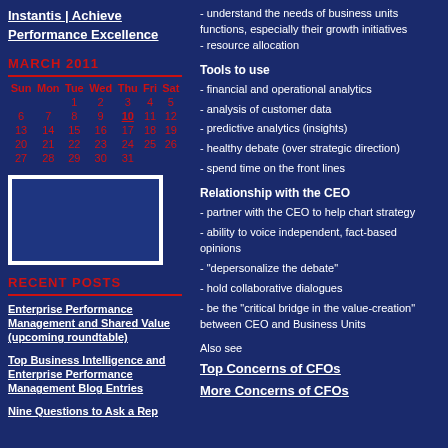Instantis | Achieve Performance Excellence
MARCH 2011
| Sun | Mon | Tue | Wed | Thu | Fri | Sat |
| --- | --- | --- | --- | --- | --- | --- |
|  |  | 1 | 2 | 3 | 4 | 5 |
| 6 | 7 | 8 | 9 | 10 | 11 | 12 |
| 13 | 14 | 15 | 16 | 17 | 18 | 19 |
| 20 | 21 | 22 | 23 | 24 | 25 | 26 |
| 27 | 28 | 29 | 30 | 31 |  |  |
[Figure (illustration): Blue rectangle image box with white border]
RECENT POSTS
Enterprise Performance Management and Shared Value (upcoming roundtable)
Top Business Intelligence and Enterprise Performance Management Blog Entries
Nine Questions to Ask a Rep
- understand the needs of business units functions, especially their growth initiatives - resource allocation
Tools to use
- financial and operational analytics
- analysis of customer data
- predictive analytics (insights)
- healthy debate (over strategic direction)
- spend time on the front lines
Relationship with the CEO
- partner with the CEO to help chart strategy
- ability to voice independent, fact-based opinions
- "depersonalize the debate"
- hold collaborative dialogues
- be the "critical bridge in the value-creation" between CEO and Business Units
Also see
Top Concerns of CFOs
More Concerns of CFOs